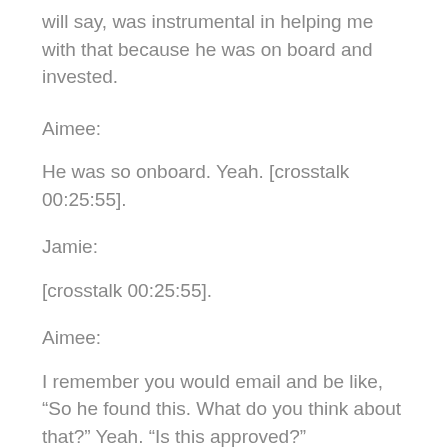will say, was instrumental in helping me with that because he was on board and invested.
Aimee:
He was so onboard. Yeah. [crosstalk 00:25:55].
Jamie:
[crosstalk 00:25:55].
Aimee:
I remember you would email and be like, “So he found this. What do you think about that?” Yeah. “Is this approved?”